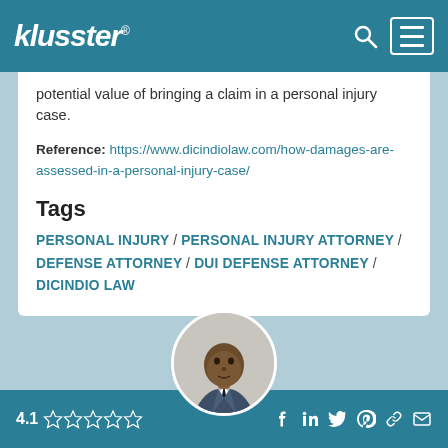klusster®
potential value of bringing a claim in a personal injury case.
Reference: https://www.dicindiolaw.com/how-damages-are-assessed-in-a-personal-injury-case/
Tags
PERSONAL INJURY / PERSONAL INJURY ATTORNEY / DEFENSE ATTORNEY / DUI DEFENSE ATTORNEY / DICINDIO LAW
[Figure (photo): Circular headshot photo of a man in a suit]
4.1 ☆☆☆☆☆ (rating stars) | Social media icons: Facebook, LinkedIn, Twitter, Pinterest, Link, Email